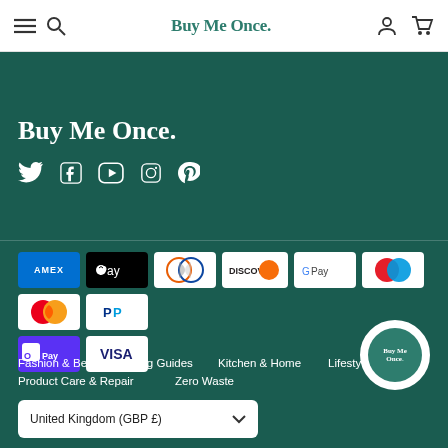Buy Me Once.
Buy Me Once.
[Figure (infographic): Social media icons: Twitter, Facebook, YouTube, Instagram, Pinterest]
[Figure (infographic): Payment method badges: American Express, Apple Pay, Diners Club, Discover, Google Pay, Maestro, Mastercard, PayPal, Apple Pay (Shop Pay), Visa]
Fashion & Beauty
Gifting Guides
Kitchen & Home
Lifestyle
Product Care & Repair
Zero Waste
[Figure (logo): Buy Me Once circular logo in teal]
United Kingdom (GBP £)